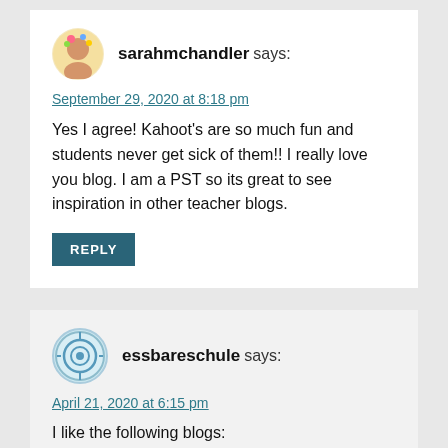sarahmchandler says:
September 29, 2020 at 8:18 pm
Yes I agree! Kahoot's are so much fun and students never get sick of them!! I really love you blog. I am a PST so its great to see inspiration in other teacher blogs.
REPLY
essbareschule says:
April 21, 2020 at 6:15 pm
I like the following blogs: